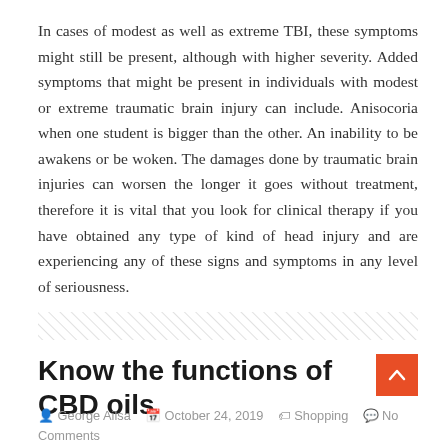In cases of modest as well as extreme TBI, these symptoms might still be present, although with higher severity. Added symptoms that might be present in individuals with modest or extreme traumatic brain injury can include. Anisocoria when one student is bigger than the other. An inability to be awakens or be woken. The damages done by traumatic brain injuries can worsen the longer it goes without treatment, therefore it is vital that you look for clinical therapy if you have obtained any type of kind of head injury and are experiencing any of these signs and symptoms in any level of seriousness.
Know the functions of CBD oils
George Ailsa   October 24, 2019   Shopping   No Comments